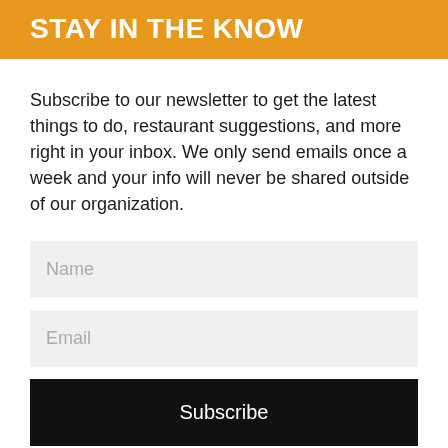STAY IN THE KNOW
Subscribe to our newsletter to get the latest things to do, restaurant suggestions, and more right in your inbox. We only send emails once a week and your info will never be shared outside of our organization.
[Figure (other): Newsletter subscription form with Name field, Email field, and Subscribe button]